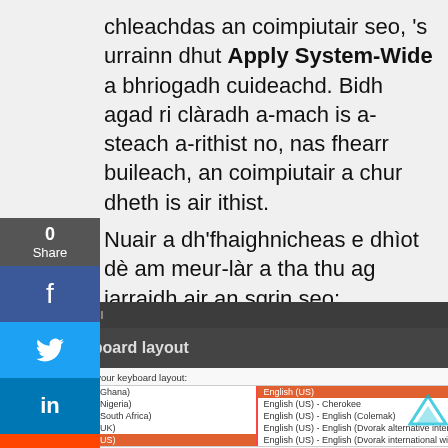chleachdas an coimpiutair seo, 's urrainn dhut Apply System-Wide a bhriogadh cuideachd. Bidh agad ri clàradh a-mach is a-steach a-rithist no, nas fhearr buileach, an coimpiutair a chur dheth is air ithist.
Nuair a dh'fhaighnicheas e dhìot dè am meur-làr a tha thu ag iarraidh air an sgrin seo:
[Figure (screenshot): Ubuntu installer 'Keyboard layout' screen showing two columns of keyboard options. Left column lists: English (Ghana), English (Nigeria), English (South Africa), English (UK), English (US) [highlighted in orange], Esperanto, Estonian, Faroese, Filipino. Right column shows: English (US) [highlighted in orange], English (US) - Cherokee, English (US) - English (Colemak), English (US) - English (Dvorak alternative international...), English (US) - English (Dvorak international with dead...), English (US) - English (Dvorak), English (US) - English (Macintosh), English (US) - English (US, alternative international), English (US) - English (US, international with dead key... A text box says 'Type here to test your keyboard', a 'Detect Keyboard Layout' button, and Back/Continue navigation buttons.]